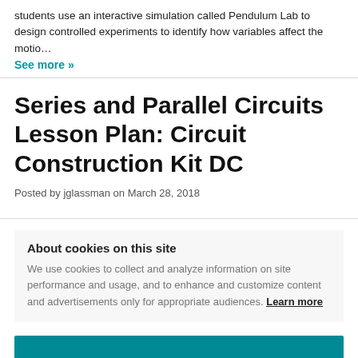students use an interactive simulation called Pendulum Lab to design controlled experiments to identify how variables affect the motio…
See more »
Series and Parallel Circuits Lesson Plan: Circuit Construction Kit DC
Posted by jglassman on March 28, 2018
About cookies on this site
We use cookies to collect and analyze information on site performance and usage, and to enhance and customize content and advertisements only for appropriate audiences. Learn more
Cookie settings